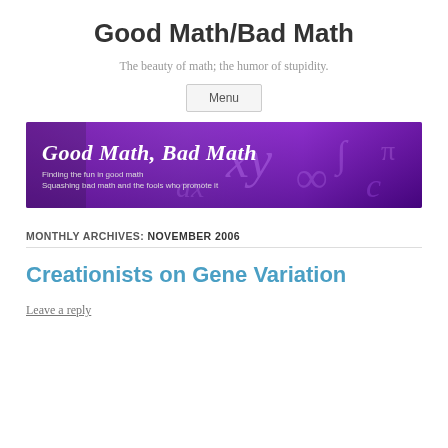Good Math/Bad Math
The beauty of math; the humor of stupidity.
Menu
[Figure (illustration): Good Math, Bad Math blog banner image with purple background and mathematical symbols. Text reads: 'Good Math, Bad Math' in italic white font, and beneath it 'Finding the fun in good math / Squashing bad math and the fools who promote it']
MONTHLY ARCHIVES: NOVEMBER 2006
Creationists on Gene Variation
Leave a reply